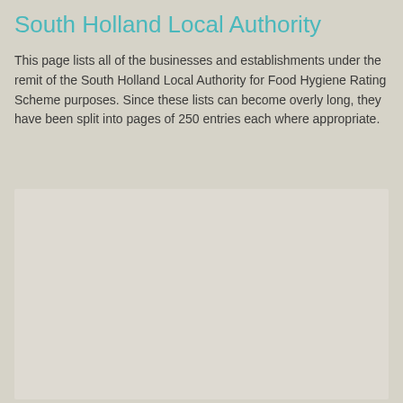South Holland Local Authority
This page lists all of the businesses and establishments under the remit of the South Holland Local Authority for Food Hygiene Rating Scheme purposes. Since these lists can become overly long, they have been split into pages of 250 entries each where appropriate.